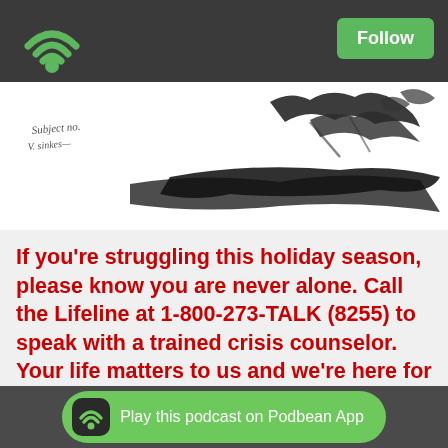Follow
[Figure (illustration): Black and white illustration showing animals and foliage, with handwritten text 'Subject no...' on the left side]
If you're struggling this holiday season, please know you are never alone. Call the Lifeline at 1-800-273-TALK (8255) to speak with a trained crisis counselor. Your life matters to us and we're here for you, 24/7. Visit www.suicidepreventionhotline.org for more information.
Please send us an email about the Unsung Sluts (An... Things) in your ...
Play this podcast on Podbean App